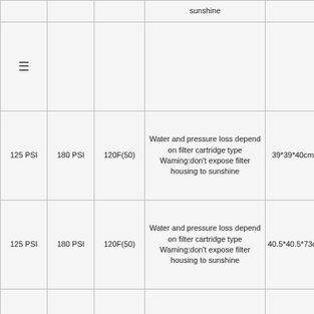| Col1 | Col2 | Col3 | Notes | Dimensions |
| --- | --- | --- | --- | --- |
|  |  |  | sunshine |  |
| 125 PSI | 180 PSI | 120F(50) | Water and pressure loss depend on filter cartridge type Waming:don't expose filter housing to sunshine | 39*39*40cm/4pcs |
| 125 PSI | 180 PSI | 120F(50) | Water and pressure loss depend on filter cartridge type Waming:don't expose filter housing to sunshine | 40.5*40.5*73cm/4pcs |
| 125 PSI | 180 PSI | 120F(50) | Water and pressure loss depend on filter cartridge type Waming:don't expose filter housing to sunshine | 39*39*73cm/4pcs |
|  |  |  | Water and pressure loss depend on |  |